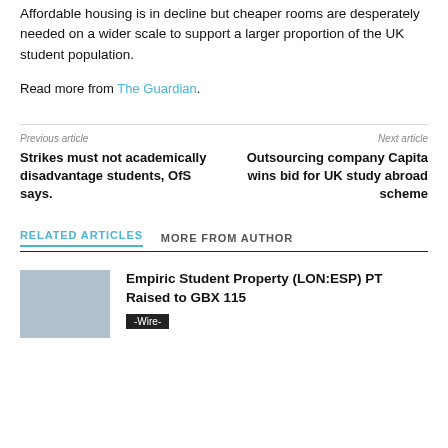Affordable housing is in decline but cheaper rooms are desperately needed on a wider scale to support a larger proportion of the UK student population.
Read more from The Guardian.
Previous article
Strikes must not academically disadvantage students, OfS says.
Next article
Outsourcing company Capita wins bid for UK study abroad scheme
RELATED ARTICLES   MORE FROM AUTHOR
Empiric Student Property (LON:ESP) PT Raised to GBX 115
-Wire-